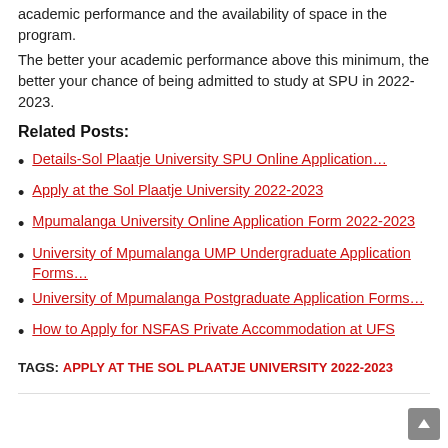academic performance and the availability of space in the program.
The better your academic performance above this minimum, the better your chance of being admitted to study at SPU in 2022-2023.
Related Posts:
Details-Sol Plaatje University SPU Online Application…
Apply at the Sol Plaatje University 2022-2023
Mpumalanga University Online Application Form 2022-2023
University of Mpumalanga UMP Undergraduate Application Forms…
University of Mpumalanga Postgraduate Application Forms…
How to Apply for NSFAS Private Accommodation at UFS
TAGS: APPLY AT THE SOL PLAATJE UNIVERSITY 2022-2023